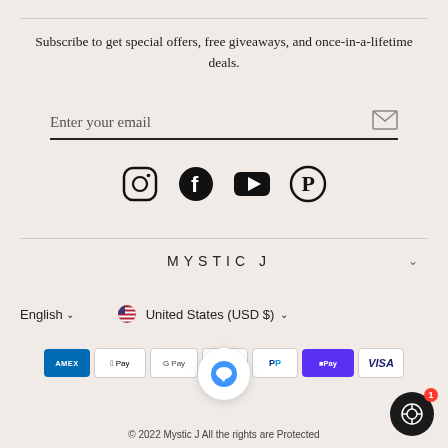Subscribe to get special offers, free giveaways, and once-in-a-lifetime deals.
Enter your email
[Figure (infographic): Social media icons: Instagram, Facebook, YouTube, Pinterest]
MYSTIC J
English
United States (USD $)
[Figure (infographic): Payment method badges: Amex, Apple Pay, Google Pay, Mastercard, PayPal, Shop Pay, Visa]
© 2022 Mystic J All the rights are Protected